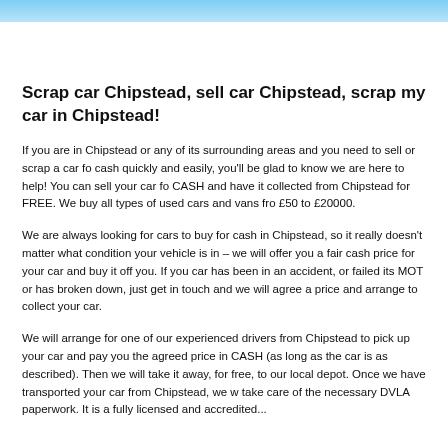Scrap car Chipstead, sell car Chipstead, scrap my car in Chipstead!
If you are in Chipstead or any of its surrounding areas and you need to sell or scrap a car for cash quickly and easily, you'll be glad to know we are here to help! You can sell your car for CASH and have it collected from Chipstead for FREE. We buy all types of used cars and vans fro £50 to £20000.
We are always looking for cars to buy for cash in Chipstead, so it really doesn't matter what condition your vehicle is in – we will offer you a fair cash price for your car and buy it off you. If you car has been in an accident, or failed its MOT or has broken down, just get in touch and we will agree a price and arrange to collect your car.
We will arrange for one of our experienced drivers from Chipstead to pick up your car and pay you the agreed price in CASH (as long as the car is as described). Then we will take it away, for free, to our local depot. Once we have transported your car from Chipstead, we w... take care of the necessary DVLA paperwork. It is a fully licensed and accredited...